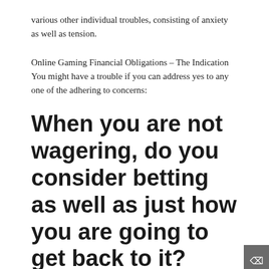various other individual troubles, consisting of anxiety as well as tension.
Online Gaming Financial Obligations – The Indication You might have a trouble if you can address yes to any one of the adhering to concerns:
When you are not wagering, do you consider betting as well as just how you are going to get back to it?
Have you ever before missed out on job as a result